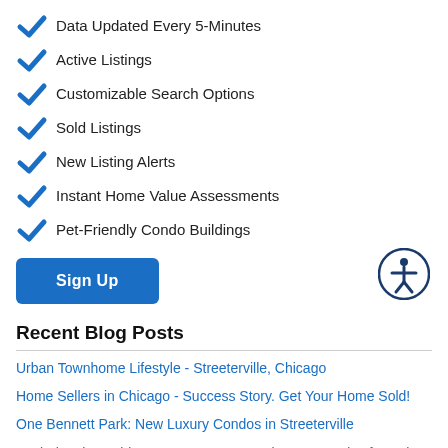Data Updated Every 5-Minutes
Active Listings
Customizable Search Options
Sold Listings
New Listing Alerts
Instant Home Value Assessments
Pet-Friendly Condo Buildings
Sign Up
Recent Blog Posts
Urban Townhome Lifestyle - Streeterville, Chicago
Home Sellers in Chicago - Success Story. Get Your Home Sold!
One Bennett Park: New Luxury Condos in Streeterville
Exploring the Gold Coast's Best: 10 E Delaware Condos for Sale